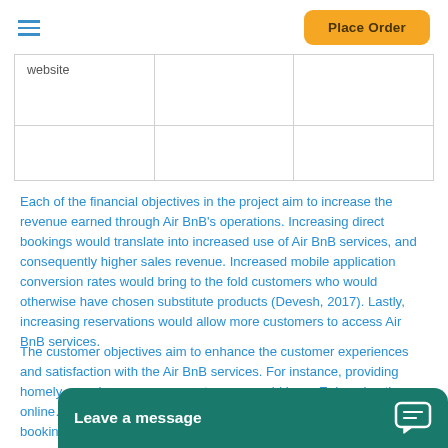Place Order
| website |  |  |
|  |  |  |
Each of the financial objectives in the project aim to increase the revenue earned through Air BnB's operations. Increasing direct bookings would translate into increased use of Air BnB services, and consequently higher sales revenue. Increased mobile application conversion rates would bring to the fold customers who would otherwise have chosen substitute products (Devesh, 2017). Lastly, increasing reservations would allow more customers to access Air BnB services.
The customer objectives aim to enhance the customer experiences and satisfaction with the Air BnB services. For instance, providing homely experiences among customers would inc... Enhancing the online... booking process lea...